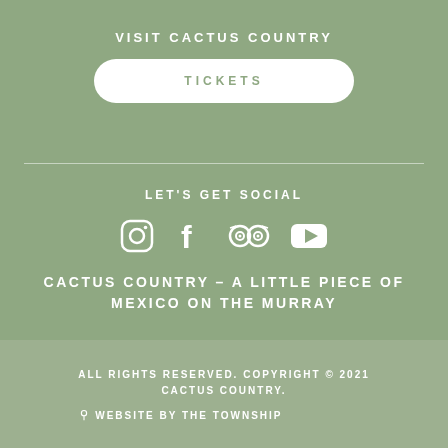VISIT CACTUS COUNTRY
TICKETS
LET'S GET SOCIAL
[Figure (other): Social media icons: Instagram, Facebook, TripAdvisor, YouTube]
CACTUS COUNTRY – A LITTLE PIECE OF MEXICO ON THE MURRAY
ALL RIGHTS RESERVED. COPYRIGHT © 2021 CACTUS COUNTRY.
WEBSITE BY THE TOWNSHIP